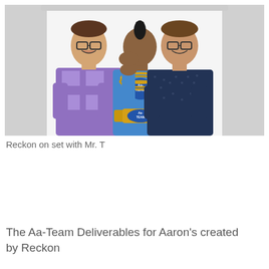[Figure (photo): Three men standing together in front of a white backdrop in a studio setting. The man on the left wears a purple plaid shirt and glasses, laughing with arms crossed. The man in the center wears a blue A-Team shirt with large gold chains and a championship belt, covering his face with his hand while laughing. The man on the right wears a dark blue dotted shirt and glasses, smiling with arms crossed.]
Reckon on set with Mr. T
The Aa-Team Deliverables for Aaron’s created by Reckon